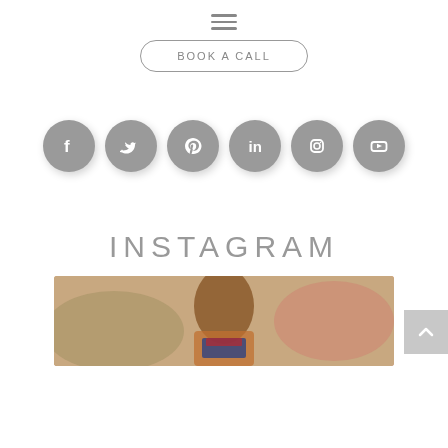[Figure (screenshot): Hamburger menu icon (three horizontal lines)]
[Figure (screenshot): Book a Call button with rounded pill border]
[Figure (infographic): Six social media icons in gray circles: Facebook, Twitter, Pinterest, LinkedIn, Instagram, YouTube]
INSTAGRAM
[Figure (photo): A female athlete running in a track and field event, close-up face and upper body, colorful background]